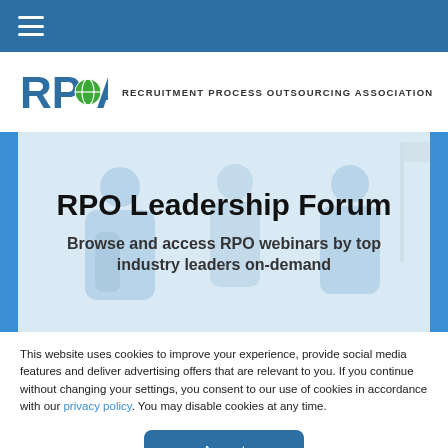Navigation menu bar
[Figure (logo): RPOA logo with globe icon and text RECRUITMENT PROCESS OUTSOURCING ASSOCIATION]
RPO Leadership Forum
Browse and access RPO webinars by top industry leaders on-demand
This website uses cookies to improve your experience, provide social media features and deliver advertising offers that are relevant to you. If you continue without changing your settings, you consent to our use of cookies in accordance with our privacy policy. You may disable cookies at any time.
Accept